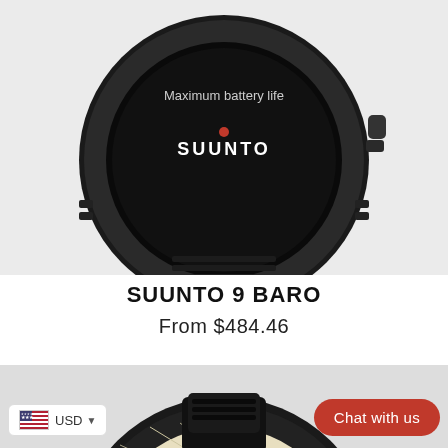[Figure (photo): Close-up of the top half of a Suunto 9 Baro smartwatch with black strap, showing the watch face with 'Maximum battery life' text and the SUUNTO logo with a red dot indicator on the display.]
SUUNTO 9 BARO
From $484.46
[Figure (photo): Close-up of the bottom half of a Suunto 9 Baro smartwatch showing the black case and strap connection, with the watch screen displaying a map view and status bar with battery 84%, navigation arrow, and heart rate 125.]
USD
Chat with us